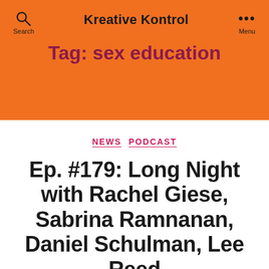Kreative Kontrol
Tag: sex education
NEWS  PODCAST
Ep. #179: Long Night with Rachel Giese, Sabrina Ramnanan, Daniel Schulman, Lee Reed